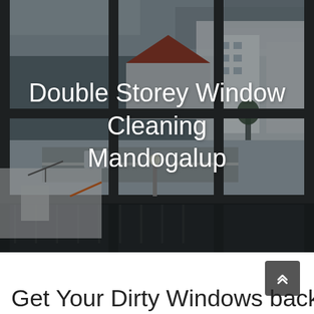[Figure (photo): Aerial view through large dark-framed glass windows of a building, looking down at a street with parked cars and surrounding buildings under an overcast sky. The photo is darkened/overlaid.]
Double Storey Window Cleaning Mandogalup
Get Your Dirty Windows back to...